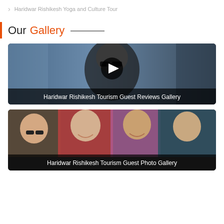Haridwar Rishikesh Yoga and Culture Tour
Our Gallery
[Figure (screenshot): Video thumbnail showing a person with glasses in a vehicle, with a play button overlay and caption 'Haridwar Rishikesh Tourism Guest Reviews Gallery']
[Figure (photo): Photo of a group of women tourists smiling, with caption 'Haridwar Rishikesh Tourism Guest Photo Gallery']